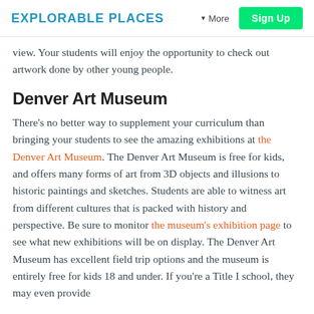EXPLORABLE PLACES | More | Sign Up
view. Your students will enjoy the opportunity to check out artwork done by other young people.
Denver Art Museum
There's no better way to supplement your curriculum than bringing your students to see the amazing exhibitions at the Denver Art Museum. The Denver Art Museum is free for kids, and offers many forms of art from 3D objects and illusions to historic paintings and sketches. Students are able to witness art from different cultures that is packed with history and perspective. Be sure to monitor the museum's exhibition page to see what new exhibitions will be on display. The Denver Art Museum has excellent field trip options and the museum is entirely free for kids 18 and under. If you're a Title I school, they may even provide